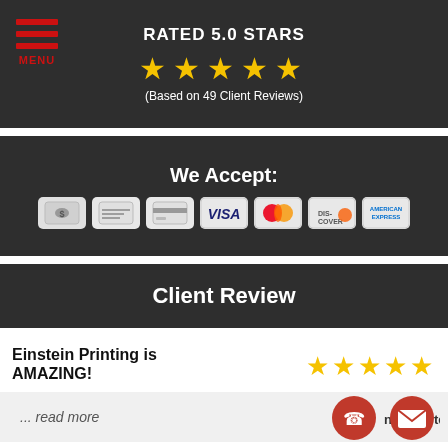[Figure (infographic): Hamburger menu icon with red lines and MENU text below]
RATED 5.0 STARS
[Figure (infographic): Five gold stars rating]
(Based on 49 Client Reviews)
We Accept:
[Figure (infographic): Payment method icons: cash, check, credit card, Visa, Mastercard, Discover, American Express]
Client Review
Einstein Printing is AMAZING!
[Figure (infographic): Five gold stars review rating]
... read more